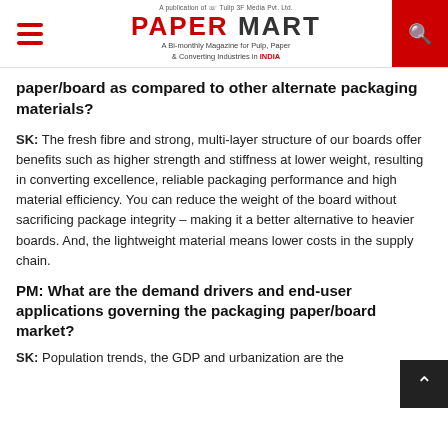PAPER MART — A Bi-monthly Magazine for Pulp, Paper & Converting Industries in INDIA
paper/board as compared to other alternate packaging materials?
SK: The fresh fibre and strong, multi-layer structure of our boards offer benefits such as higher strength and stiffness at lower weight, resulting in converting excellence, reliable packaging performance and high material efficiency. You can reduce the weight of the board without sacrificing package integrity – making it a better alternative to heavier boards. And, the lightweight material means lower costs in the supply chain.
PM: What are the demand drivers and end-user applications governing the packaging paper/board market?
SK: Population trends, the GDP and urbanization are the...